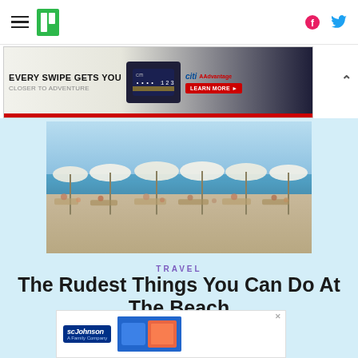HuffPost navigation bar with hamburger menu, logo, Facebook and Twitter icons
[Figure (other): Citi AAdvantage credit card advertisement banner: 'EVERY SWIPE GETS YOU' with credit card image, Citi and AAdvantage logos, red LEARN MORE button]
[Figure (photo): Beach scene with people sunbathing on sandy beach, white parasols, blue sea in background]
TRAVEL
The Rudest Things You Can Do At The Beach
[Figure (other): SC Johnson A Family Company advertisement banner at bottom of page]